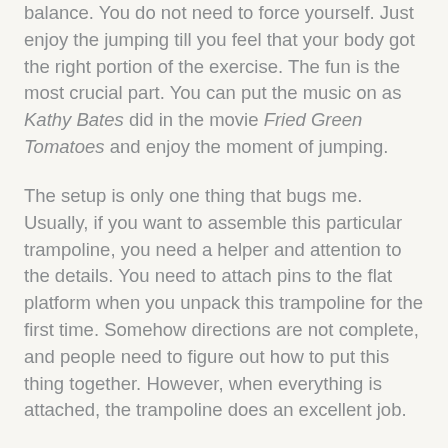balance. You do not need to force yourself. Just enjoy the jumping till you feel that your body got the right portion of the exercise. The fun is the most crucial part. You can put the music on as Kathy Bates did in the movie Fried Green Tomatoes and enjoy the moment of jumping.
The setup is only one thing that bugs me. Usually, if you want to assemble this particular trampoline, you need a helper and attention to the details. You need to attach pins to the flat platform when you unpack this trampoline for the first time. Somehow directions are not complete, and people need to figure out how to put this thing together. However, when everything is attached, the trampoline does an excellent job.